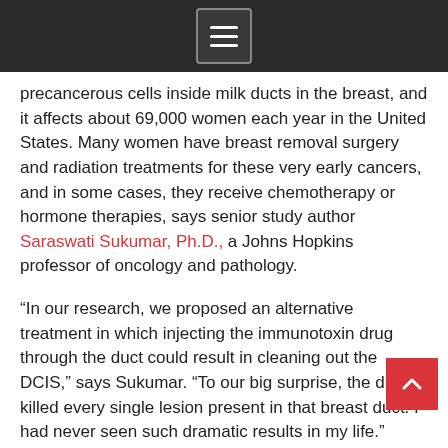Navigation menu icon (hamburger)
precancerous cells inside milk ducts in the breast, and it affects about 69,000 women each year in the United States. Many women have breast removal surgery and radiation treatments for these very early cancers, and in some cases, they receive chemotherapy or hormone therapies, says senior study author Saraswati Sukumar, Ph.D., a Johns Hopkins professor of oncology and pathology.
“In our research, we proposed an alternative treatment in which injecting the immunotoxin drug through the duct could result in cleaning out the DCIS,” says Sukumar. “To our big surprise, the drugs killed every single lesion present in that breast duct. I had never seen such dramatic results in my life.”
During their investigations, the researchers first assessed the cell-killing effects of HB21(Fv)-PE40, a targeted immunotoxin, in four cell lines of different molecular